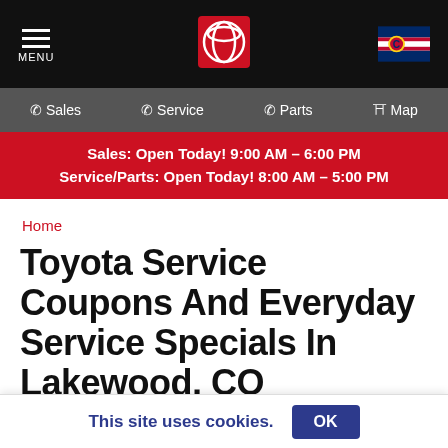MENU | Toyota Logo | Colorado Flag
Sales | Service | Parts | Map
Sales: Open Today! 9:00 AM – 6:00 PM
Service/Parts: Open Today! 8:00 AM – 5:00 PM
Home
Toyota Service Coupons And Everyday Service Specials In Lakewood, CO
At Stevinson Toyota West, we've streamlined our processes and lowered our pricing to save you time and
This site uses cookies.  OK